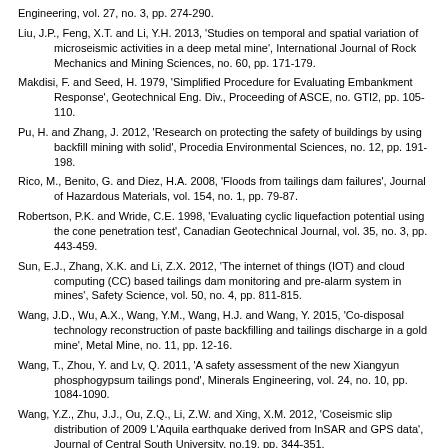Engineering, vol. 27, no. 3, pp. 274-290.
Liu, J.P., Feng, X.T. and Li, Y.H. 2013, 'Studies on temporal and spatial variation of microseismic activities in a deep metal mine', International Journal of Rock Mechanics and Mining Sciences, no. 60, pp. 171-179.
Makdisi, F. and Seed, H. 1979, 'Simplified Procedure for Evaluating Embankment Response', Geotechnical Eng. Div., Proceeding of ASCE, no. GTI2, pp. 105-110.
Pu, H. and Zhang, J. 2012, 'Research on protecting the safety of buildings by using backfill mining with solid', Procedia Environmental Sciences, no. 12, pp. 191-198.
Rico, M., Benito, G. and Diez, H.A. 2008, 'Floods from tailings dam failures', Journal of Hazardous Materials, vol. 154, no. 1, pp. 79-87.
Robertson, P.K. and Wride, C.E. 1998, 'Evaluating cyclic liquefaction potential using the cone penetration test', Canadian Geotechnical Journal, vol. 35, no. 3, pp. 443-459.
Sun, E.J., Zhang, X.K. and Li, Z.X. 2012, 'The internet of things (IOT) and cloud computing (CC) based tailings dam monitoring and pre-alarm system in mines', Safety Science, vol. 50, no. 4, pp. 811-815.
Wang, J.D., Wu, A.X., Wang, Y.M., Wang, H.J. and Wang, Y. 2015, 'Co-disposal technology reconstruction of paste backfilling and tailings discharge in a gold mine', Metal Mine, no. 11, pp. 12-16.
Wang, T., Zhou, Y. and Lv, Q. 2011, 'A safety assessment of the new Xiangyun phosphogypsum tailings pond', Minerals Engineering, vol. 24, no. 10, pp. 1084-1090.
Wang, Y.Z., Zhu, J.J., Ou, Z.Q., Li, Z.W. and Xing, X.M. 2012, 'Coseismic slip distribution of 2009 L'Aquila earthquake derived from InSAR and GPS data', Journal of Central South University, no.19, pp. 344-351.